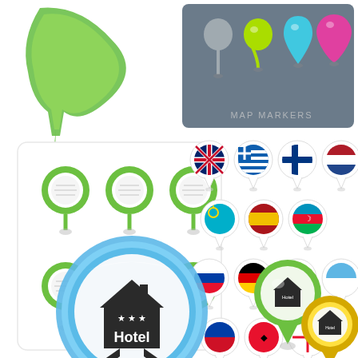[Figure (illustration): Collection of map marker/pin icons and location pointer graphics. Top-left: large green arrow/leaf shaped pointer. Top-right: gray panel with four map pin shapes (gray, lime green, cyan, pink) labeled MAP MARKERS. Middle-left: white rounded rectangle panel with 6 green circular ring map pins in two rows, labeled Vector Illustration. Middle-right: 13 circular map pin badges with country flags (UK, Greece, Finland, Netherlands, Kazakhstan, Spain, Azerbaijan, Slovakia, Germany, Russia, San Marino, Liechtenstein, Albania, Jersey). Bottom-left: large blue glossy circular button with hotel house icon and stars and Hotel text. Bottom-right: two hotel map pins - one green and one gold/yellow - each containing a house icon with Hotel text.]